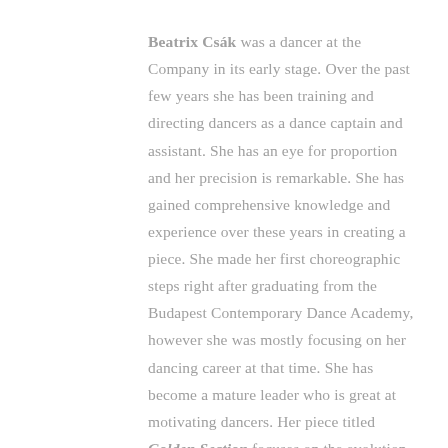Beatrix Csák was a dancer at the Company in its early stage. Over the past few years she has been training and directing dancers as a dance captain and assistant. She has an eye for proportion and her precision is remarkable. She has gained comprehensive knowledge and experience over these years in creating a piece. She made her first choreographic steps right after graduating from the Budapest Contemporary Dance Academy, however she was mostly focusing on her dancing career at that time. She has become a mature leader who is great at motivating dancers. Her piece titled Golden Section focuses on the evolution of energies within the community. The